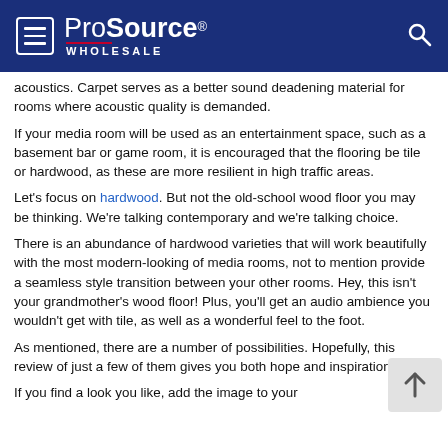ProSource WHOLESALE
acoustics. Carpet serves as a better sound deadening material for rooms where acoustic quality is demanded.
If your media room will be used as an entertainment space, such as a basement bar or game room, it is encouraged that the flooring be tile or hardwood, as these are more resilient in high traffic areas.
Let's focus on hardwood. But not the old-school wood floor you may be thinking. We're talking contemporary and we're talking choice.
There is an abundance of hardwood varieties that will work beautifully with the most modern-looking of media rooms, not to mention provide a seamless style transition between your other rooms. Hey, this isn't your grandmother's wood floor! Plus, you'll get an audio ambience you wouldn't get with tile, as well as a wonderful feel to the foot.
As mentioned, there are a number of possibilities. Hopefully, this review of just a few of them gives you both hope and inspiration.
If you find a look you like, add the image to your